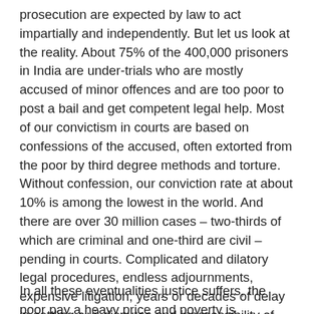prosecution are expected by law to act impartially and independently. But let us look at the reality. About 75% of the 400,000 prisoners in India are under-trials who are mostly accused of minor offences and are too poor to post a bail and get competent legal help. Most of our convictism in courts are based on confessions of the accused, often extorted from the poor by third degree methods and torture. Without confession, our conviction rate at about 10% is among the lowest in the world. And there are over 30 million cases – two-thirds of which are criminal and one-third are civil – pending in courts. Complicated and dilatory legal procedures, endless adjournments, expensive litigation, years or decades of delay in settling civil disputes and inaccessibility of justice system deter most of the poor and middle classes from approaching courts to settle a civil dispute or enforce their rights. The poor often swallow injustice and suffer silently, or pay a bribe in the hope of some justice, or approach a local muscleman or criminal to get rough and ready justice by brutal methods for a price.
In all these eventualities justice suffers, the poor pay a heavy price and poverty is perpetuated. A society that does not